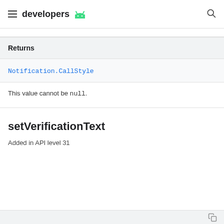developers
Returns
Notification.CallStyle
This value cannot be null.
setVerificationText
Added in API level 31